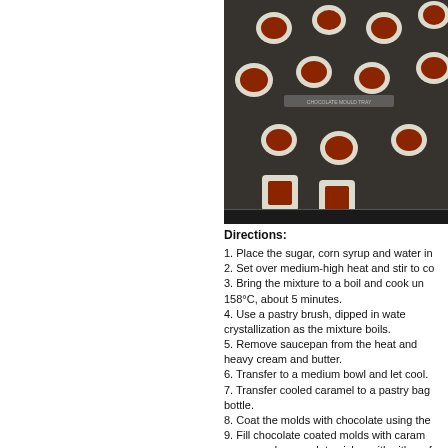[Figure (photo): Overhead photo of chocolate candy molds on a baking tray filled with caramel filling, viewed from above on a dark metal tray surface.]
Directions:
1. Place the sugar, corn syrup and water in
2. Set over medium-high heat and stir to co
3. Bring the mixture to a boil and cook un 158°C, about 5 minutes.
4. Use a pastry brush, dipped in wate crystallization as the mixture boils.
5. Remove saucepan from the heat and heavy cream and butter.
6. Transfer to a medium bowl and let cool.
7. Transfer cooled caramel to a pastry bag bottle.
8. Coat the molds with chocolate using the
9. Fill chocolate coated molds with caram messy and goes a lot quicker with either of
10. Finish off with a layer of chocolate as filled chocolates with molds
11. Once fully set, carefully knock the cho